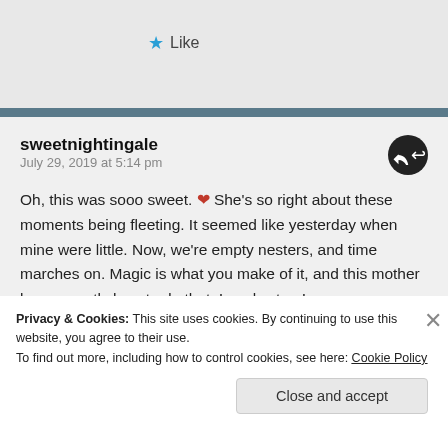Like
sweetnightingale
July 29, 2019 at 5:14 pm

Oh, this was sooo sweet. ❤ She's so right about these moments being fleeting. It seemed like yesterday when mine were little. Now, we're empty nesters, and time marches on. Magic is what you make of it, and this mother knew exactly how to do that. Lovely story!

Liked by 1 person
Privacy & Cookies: This site uses cookies. By continuing to use this website, you agree to their use.
To find out more, including how to control cookies, see here: Cookie Policy
Close and accept